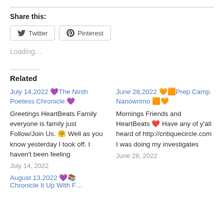Share this:
Twitter  Pinterest
Loading…
Related
July 14,2022 💜The Ninth Poetess Chronicle 💜
Greetings HeartBeats Family everyone is family just Follow/Join Us. 🤗 Well as you know yesterday I took off. I haven't been feeling
July 14, 2022
June 28,2022 🧡🟧Prep Camp Nanowrimo 🟧🧡
Mornings Friends and HeartBeats ❤️ Have any of y'all heard of http://critiquecircle.com I was doing my investigates
June 28, 2022
August 13,2022 💜📚
Chronicle It Up With F…